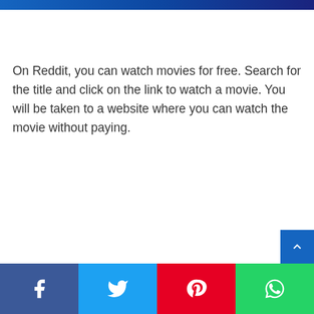On Reddit, you can watch movies for free. Search for the title and click on the link to watch a movie. You will be taken to a website where you can watch the movie without paying.
Share buttons: Facebook, Twitter, Pinterest, WhatsApp